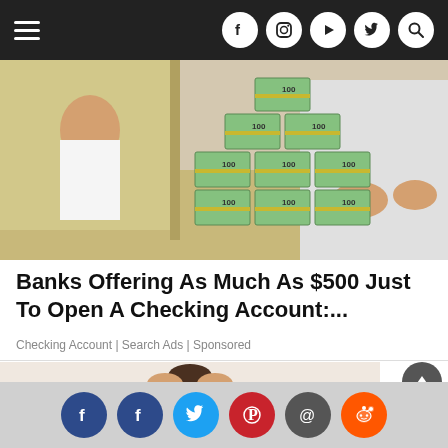Navigation bar with hamburger menu and social icons (Facebook, Instagram, YouTube, Twitter, Search)
[Figure (photo): Photo of stacks of $100 bills on a desk, with two people in the background at what appears to be a bank or office counter.]
Banks Offering As Much As $500 Just To Open A Checking Account:...
Checking Account | Search Ads | Sponsored
[Figure (photo): Photo of a person (likely a woman) with hands raised to head, appearing stressed or frustrated.]
Share bar with social icons: Facebook (dark blue), Facebook (dark blue), Twitter (blue), Pinterest (red), Email (dark grey), Reddit (orange)